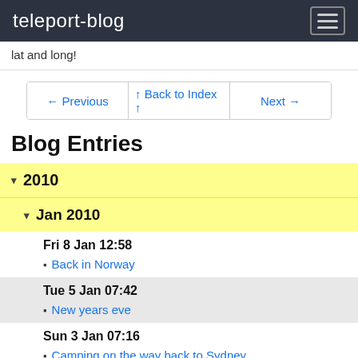teleport-blog
lat and long!
← Previous | ↑ Back to Index ↑ | Next →
Blog Entries
▾ 2010
▾ Jan 2010
Fri 8 Jan 12:58
Back in Norway
Tue 5 Jan 07:42
New years eve
Sun 3 Jan 07:16
Camping on the way back to Sydney
River crossing
13 great iPhotos
Day 2